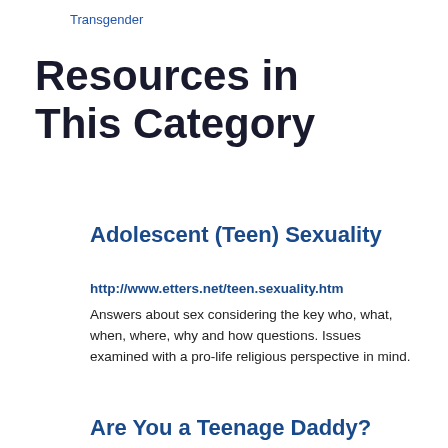Transgender
Resources in This Category
Adolescent (Teen) Sexuality
http://www.etters.net/teen.sexuality.htm
Answers about sex considering the key who, what, when, where, why and how questions. Issues examined with a pro-life religious perspective in mind.
Are You a Teenage Daddy?